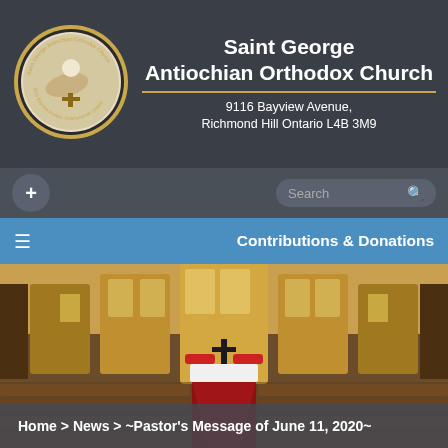[Figure (logo): Saint George Antiochian Orthodox Church circular logo with a knight on horseback]
Saint George Antiochian Orthodox Church
9116 Bayview Avenue, Richmond Hill Ontario L4B 3M9
+ (plus/menu button) and Search box
Contributions & Donations
[Figure (photo): Interior of Saint George Antiochian Orthodox Church showing the iconostasis, altar, pews with red carpet aisle]
Home > News > ~Pastor's Message of June 11, 2020~